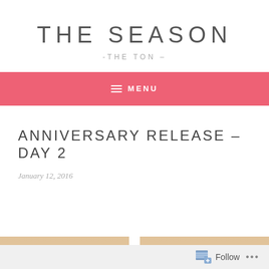THE SEASON
-THE TON -
≡ MENU
ANNIVERSARY RELEASE – DAY 2
January 12, 2016
Follow ...